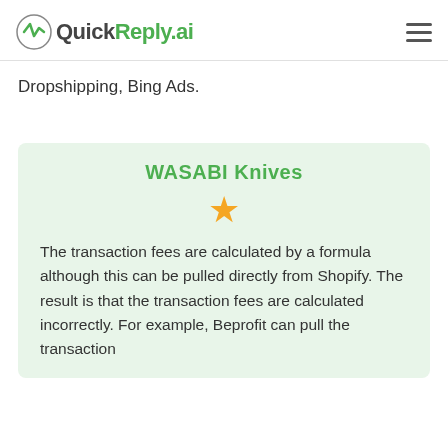QuickReply.ai
Dropshipping, Bing Ads.
WASABI Knives
The transaction fees are calculated by a formula although this can be pulled directly from Shopify. The result is that the transaction fees are calculated incorrectly. For example, Beprofit can pull the transaction fees...